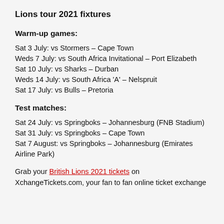Lions tour 2021 fixtures
Warm-up games:
Sat 3 July: vs Stormers – Cape Town
Weds 7 July: vs South Africa Invitational – Port Elizabeth
Sat 10 July: vs Sharks – Durban
Weds 14 July: vs South Africa 'A' – Nelspruit
Sat 17 July: vs Bulls – Pretoria
Test matches:
Sat 24 July: vs Springboks – Johannesburg (FNB Stadium)
Sat 31 July: vs Springboks – Cape Town
Sat 7 August: vs Springboks – Johannesburg (Emirates Airline Park)
Grab your British Lions 2021 tickets on XchangeTickets.com, your fan to fan online ticket exchange